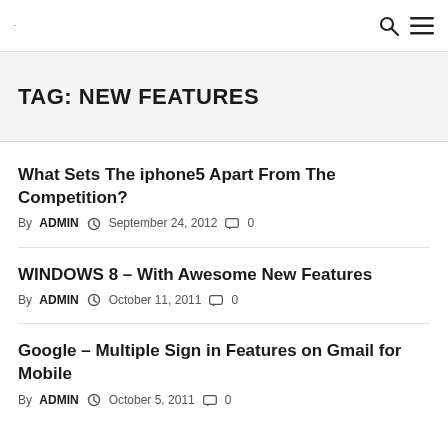. 🔍 ☰
TAG: NEW FEATURES
What Sets The iphone5 Apart From The Competition?
By ADMIN   September 24, 2012   0
WINDOWS 8 – With Awesome New Features
By ADMIN   October 11, 2011   0
Google – Multiple Sign in Features on Gmail for Mobile
By ADMIN   October 5, 2011   0